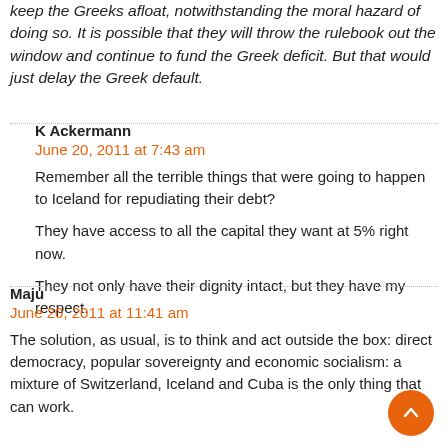keep the Greeks afloat, notwithstanding the moral hazard of doing so. It is possible that they will throw the rulebook out the window and continue to fund the Greek deficit. But that would just delay the Greek default.
K Ackermann
June 20, 2011 at 7:43 am
Remember all the terrible things that were going to happen to Iceland for repudiating their debt?
They have access to all the capital they want at 5% right now.
They not only have their dignity intact, but they have my respect.
Maju
June 20, 2011 at 11:41 am
The solution, as usual, is to think and act outside the box: direct democracy, popular sovereignty and economic socialism: a mixture of Switzerland, Iceland and Cuba is the only thing that can work.